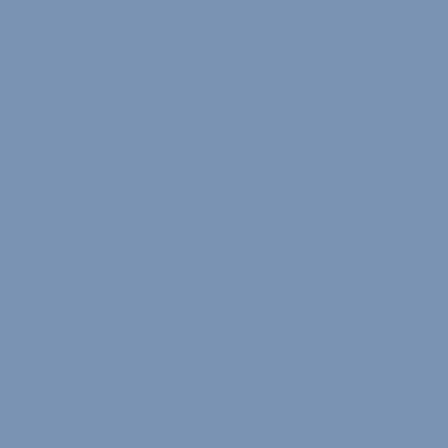personality composite that underlies fascism. (b... item that best predicts a authoritarian personalit... strong leader to stomp out the rot that is threate...
As sbw comments, "in the larger world the me... problem. Nor is its technology or the multiplici... The problem is our reluctance to recognize sho... behavior, label it, and encourage its improveme...
But I would also say, going back to the "somet... with the leadership" theme, that the liberal lead... failed. Right wing resentment was present befo... just ridden the crest. A large proportion of the A... are resentful, offended, feeling exploited and ne... misrepresented, angry, willfully ill-informed, a... suggests that the liberals also need to do a serio... diagnostic to review a number of their core beli... towards abortion, the working class, religion, a... American power have been mentioned in this th... regionalism, as well--as someone who lives in M... have resented the east coast and west coast atti... media towards the "flyover land" of the Americ...